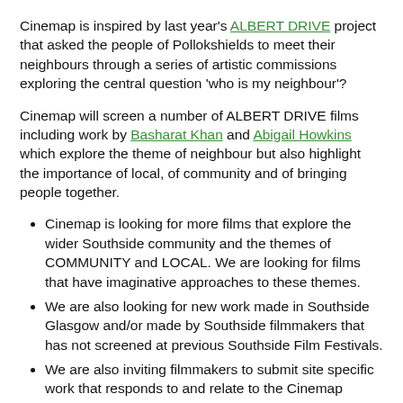Cinemap is inspired by last year's ALBERT DRIVE project that asked the people of Pollokshields to meet their neighbours through a series of artistic commissions exploring the central question 'who is my neighbour'?
Cinemap will screen a number of ALBERT DRIVE films including work by Basharat Khan and Abigail Howkins which explore the theme of neighbour but also highlight the importance of local, of community and of bringing people together.
Cinemap is looking for more films that explore the wider Southside community and the themes of COMMUNITY and LOCAL. We are looking for films that have imaginative approaches to these themes.
We are also looking for new work made in Southside Glasgow and/or made by Southside filmmakers that has not screened at previous Southside Film Festivals.
We are also inviting filmmakers to submit site specific work that responds to and relate to the Cinemap screening spaces- Shawlands Arcade, The Glad Cafe, Govanhill Baths, New Victoria Gardens and East Pollokshields Quad and The Tramway. What would you screen in a shopping centre, a cafe, a swimming pool, an allotment, a green space in a tenement back court and a multi arts